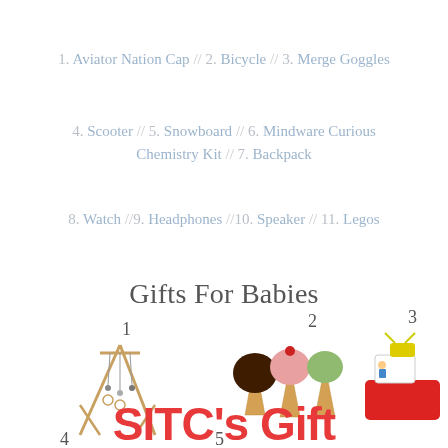1. Aviator Nation Cap // 2. Bicycle // 3. Merge Goggles
4. Scooter // 5. Snowboard // 6. Mindware Curious Chemistry Kit // 7. Backpack
8. Watch // 9. Headphones // 10. Speaker // 11. Legos
Gifts For Babies
[Figure (illustration): Collage of baby gifts including a wooden play gym (1), crocheted ice cream cone hats (2), a toy boat playset (3), and additional items at bottom (4, 5). Overlaid with red italic text reading SITC's Gift.]